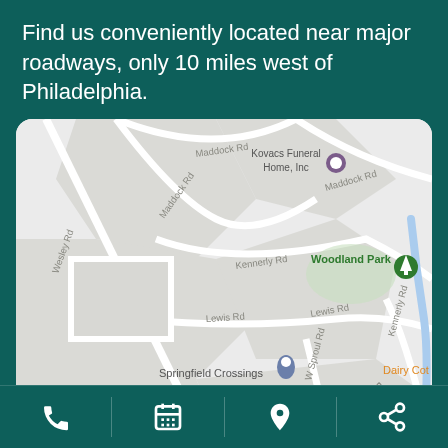Find us conveniently located near major roadways, only 10 miles west of Philadelphia.
[Figure (map): Google Maps view showing local street map with roads including Maddock Rd, Kennerly Rd, Lewis Rd, Wesley Rd, W Sproul Rd. Shows location markers for Kovacs Funeral Home Inc, Woodland Park, Springfield Crossings, Springfield Ice, and Dairy Cot. Blue river visible at right edge.]